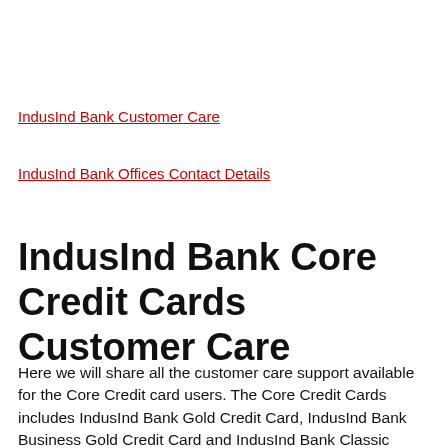IndusInd Bank Customer Care
IndusInd Bank Offices Contact Details
IndusInd Bank Core Credit Cards Customer Care
Here we will share all the customer care support available for the Core Credit card users. The Core Credit Cards includes IndusInd Bank Gold Credit Card, IndusInd Bank Business Gold Credit Card and IndusInd Bank Classic Credit Card. So for the queries, questions, issues and support related to these credit